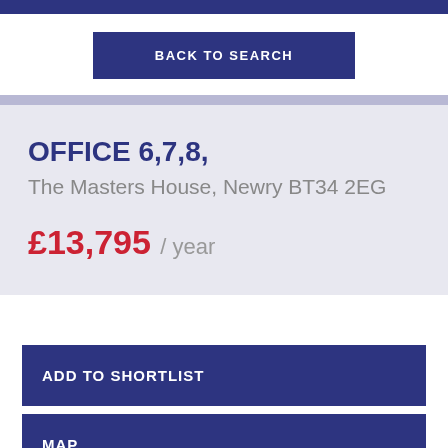BACK TO SEARCH
OFFICE 6,7,8,
The Masters House, Newry BT34 2EG
£13,795 / year
ADD TO SHORTLIST
MAP
STREET VIEW